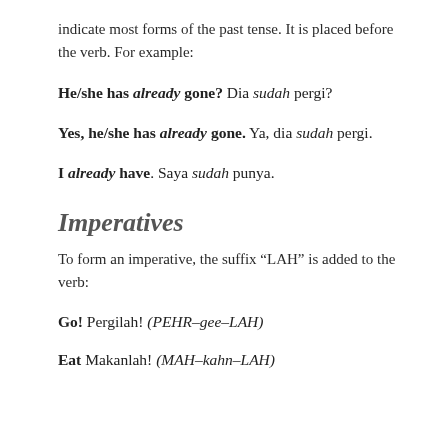indicate most forms of the past tense. It is placed before the verb. For example:
He/she has already gone? Dia sudah pergi?
Yes, he/she has already gone. Ya, dia sudah pergi.
I already have. Saya sudah punya.
Imperatives
To form an imperative, the suffix “LAH” is added to the verb:
Go! Pergilah! (PEHR-gee-LAH)
Eat Makanlah! (MAH-kahn-LAH)